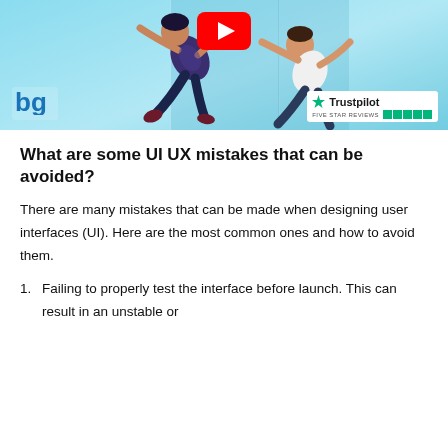[Figure (screenshot): A YouTube video thumbnail showing animated people floating/falling in a light blue background with a YouTube play button at the top center, a BQ logo at bottom left, and a Trustpilot five-star badge at bottom right.]
What are some UI UX mistakes that can be avoided?
There are many mistakes that can be made when designing user interfaces (UI). Here are the most common ones and how to avoid them.
Failing to properly test the interface before launch. This can result in an unstable or